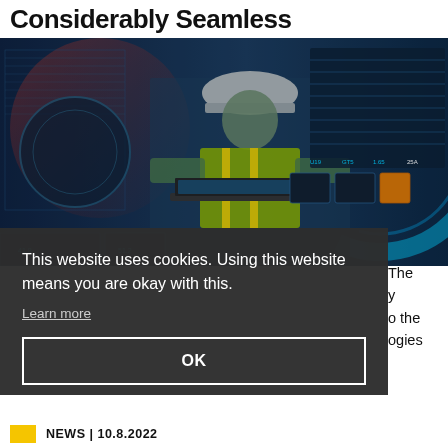Considerably Seamless
[Figure (photo): Industrial worker wearing a yellow safety vest and hard hat using a laptop in a high-tech industrial environment, with digital dashboard overlays showing data tables, gauges, and metrics in blue and red tones.]
This website uses cookies. Using this website means you are okay with this.
Learn more
OK
The y o the ogies
NEWS | 10.8.2022